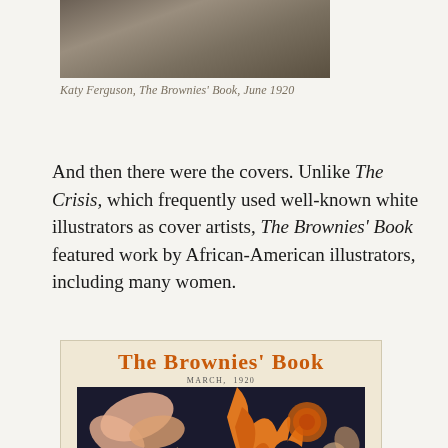[Figure (photo): Partial view of a black-and-white photograph, cropped at top, showing a dark sepia-toned image (top portion of a person or portrait), attributed to Katy Ferguson, The Brownies' Book, June 1920]
Katy Ferguson, The Brownies' Book, June 1920
And then there were the covers. Unlike The Crisis, which frequently used well-known white illustrators as cover artists, The Brownies' Book featured work by African-American illustrators, including many women.
[Figure (illustration): Cover of The Brownies' Book magazine, March 1920, featuring the magazine title in orange decorative font, subtitle 'MARCH, 1920', and an illustrated cover showing stylized Art Nouveau figures with flowers in orange, black, and cream colors.]